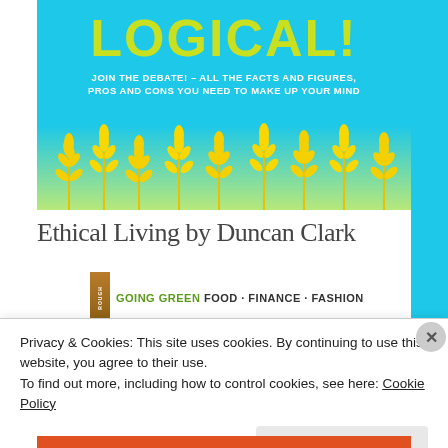[Figure (illustration): Book cover or banner image showing 'LOGICAL!' in large yellow-green text on a cyan/yellow gradient background with wheat stalks illustration and subtitle 'JOIN THE DEBATE! - ALL THE FACTS AND FIGURES, PROS AND CONS YOU NEED TO MAKE UP YOUR MIND']
Ethical Living by Duncan Clark
GOING GREEN FOOD · FINANCE · FASHION
Privacy & Cookies: This site uses cookies. By continuing to use this website, you agree to their use.
To find out more, including how to control cookies, see here: Cookie Policy
Close and accept